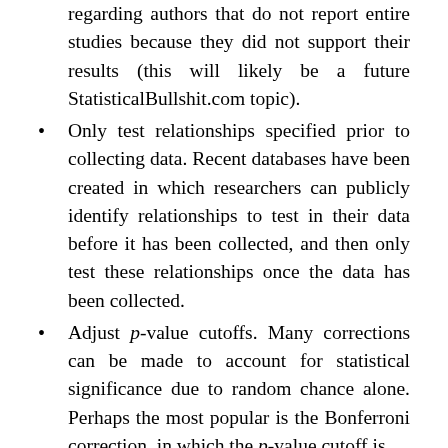regarding authors that do not report entire studies because they did not support their results (this will likely be a future StatisticalBullshit.com topic).
Only test relationships specified prior to collecting data. Recent databases have been created in which researchers can publicly identify relationships to test in their data before it has been collected, and then only test these relationships once the data has been collected.
Adjust p-value cutoffs. Many corrections can be made to account for statistical significance due to random chance alone. Perhaps the most popular is the Bonferroni correction, in which the p-value cutoff is